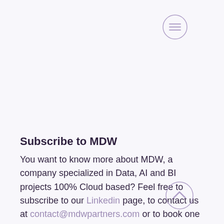[Figure (other): Hamburger menu icon — circle outline with three horizontal lines inside, light purple/lavender color, top right area]
Subscribe to MDW
You want to know more about MDW, a company specialized in Data, AI and BI projects 100% Cloud based? Feel free to subscribe to our Linkedin page, to contact us at contact@mdwpartners.com or to book one hour free consultation here: free consultation.
[Figure (other): Scroll-to-top chevron button — circle outline with upward-pointing chevron, light purple/lavender color, bottom right area]